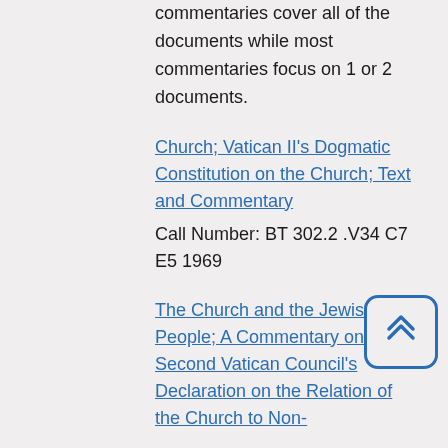commentaries cover all of the documents while most commentaries focus on 1 or 2 documents.
Church; Vatican II's Dogmatic Constitution on the Church; Text and Commentary
Call Number: BT 302.2 .V34 C7 E5 1969
The Church and the Jewish People; A Commentary on the Second Vatican Council's Declaration on the Relation of the Church to Non-